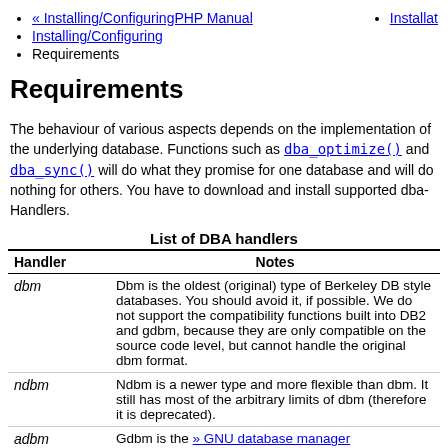« Installing/ConfiguringPHP Manual
Installing/Configuring
Requirements
Installat
Requirements
The behaviour of various aspects depends on the implementation of the underlying database. Functions such as dba_optimize() and dba_sync() will do what they promise for one database and will do nothing for others. You have to download and install supported dba-Handlers.
List of DBA handlers
| Handler | Notes |
| --- | --- |
| dbm | Dbm is the oldest (original) type of Berkeley DB style databases. You should avoid it, if possible. We do not support the compatibility functions built into DB2 and gdbm, because they are only compatible on the source code level, but cannot handle the original dbm format. |
| ndbm | Ndbm is a newer type and more flexible than dbm. It still has most of the arbitrary limits of dbm (therefore it is deprecated). |
| adbm | Gdbm is the » GNU database manager |